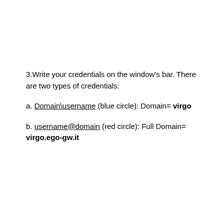3.Write your credentials on the window's bar. There are two types of credentials:
a. Domain\username (blue circle): Domain= virgo
b. username@domain (red circle): Full Domain= virgo.ego-gw.it